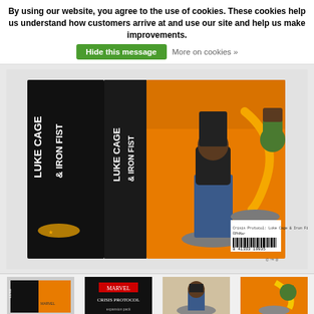By using our website, you agree to the use of cookies. These cookies help us understand how customers arrive at and use our site and help us make improvements.
Hide this message   More on cookies »
[Figure (photo): Product box back of Marvel Crisis Protocol Luke Cage & Iron Fist miniatures game expansion, showing two painted miniature figures (Luke Cage and Iron Fist) and the box art with black/orange design and barcode 8 41333 10935]
[Figure (photo): Thumbnail 1: Marvel Crisis Protocol product box thumbnail]
[Figure (photo): Thumbnail 2: Marvel Crisis Protocol product box thumbnail]
[Figure (photo): Thumbnail 3: Character figure thumbnail]
[Figure (photo): Thumbnail 4: Character detail thumbnail]